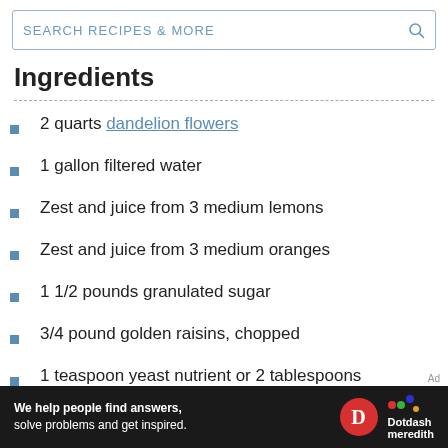SEARCH RECIPES & MORE
Ingredients
2 quarts dandelion flowers
1 gallon filtered water
Zest and juice from 3 medium lemons
Zest and juice from 3 medium oranges
1 1/2 pounds granulated sugar
3/4 pound golden raisins, chopped
1 teaspoon yeast nutrient or 2 tablespoons
[Figure (logo): Dotdash Meredith advertisement banner with text: We help people find answers, solve problems and get inspired.]